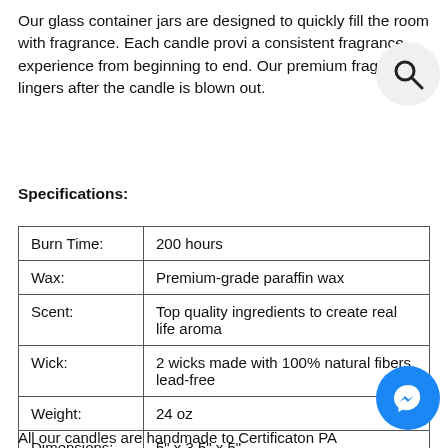Our glass container jars are designed to quickly fill the room with fragrance. Each candle provides a consistent fragrance experience from beginning to end. Our premium fragrance lingers after the candle is blown out.
Specifications:
| Burn Time: | 200 hours |
| Wax: | Premium-grade paraffin wax |
| Scent: | Top quality ingredients to create real life aroma |
| Wick: | 2 wicks made with 100% natural fibers, lead-free |
| Weight: | 24 oz |
| Dimensions: | 5" x 3.5" x 5" |
All our candles are handmade to Certification PA...